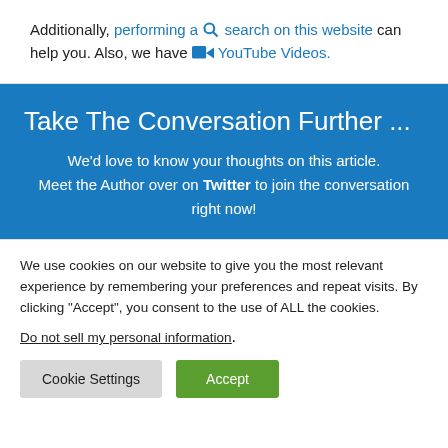Additionally, performing a 🔍 search on this website can help you. Also, we have 📹 YouTube Videos.
Take The Conversation Further ...
We'd love to know your thoughts on this article. Meet the Author over on Twitter to join the conversation right now!
We use cookies on our website to give you the most relevant experience by remembering your preferences and repeat visits. By clicking "Accept", you consent to the use of ALL the cookies.
Do not sell my personal information.
Cookie Settings | Accept